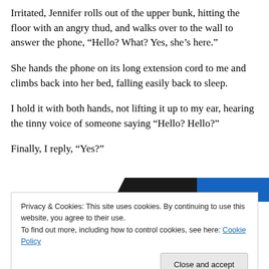Irritated, Jennifer rolls out of the upper bunk, hitting the floor with an angry thud, and walks over to the wall to answer the phone, “Hello? What? Yes, she’s here.”
She hands the phone on its long extension cord to me and climbs back into her bed, falling easily back to sleep.
I hold it with both hands, not lifting it up to my ear, hearing the tinny voice of someone saying “Hello? Hello?”
Finally, I reply, “Yes?”
[Figure (other): Partial banner/logo strip visible at top of cookie consent overlay area, showing black trapezoid shape, blue rectangle, and red accent on white background.]
Privacy & Cookies: This site uses cookies. By continuing to use this website, you agree to their use.
To find out more, including how to control cookies, see here: Cookie Policy
Close and accept